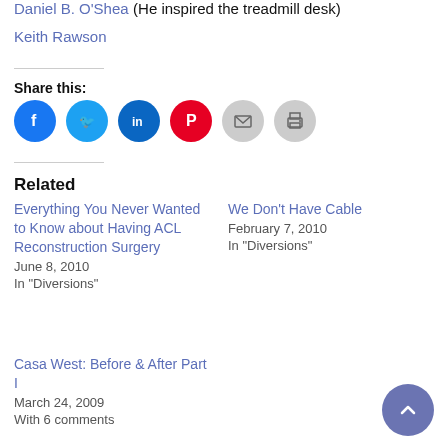Daniel B. O'Shea (He inspired the treadmill desk)
Keith Rawson
Share this:
[Figure (infographic): Social share icon buttons: Facebook (blue circle), Twitter (light blue circle), LinkedIn (dark blue circle), Pinterest (red circle), Email (light grey circle), Print (light grey circle)]
Related
Everything You Never Wanted to Know about Having ACL Reconstruction Surgery
June 8, 2010
In "Diversions"
We Don't Have Cable
February 7, 2010
In "Diversions"
Casa West: Before & After Part I
March 24, 2009
With 6 comments